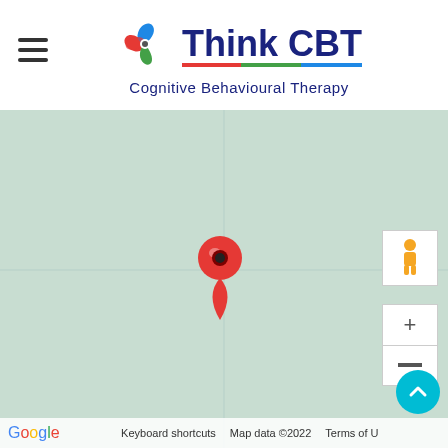[Figure (logo): Think CBT logo with spinning pinwheel icon and tagline 'Cognitive Behavioural Therapy']
[Figure (map): Google Maps screenshot showing a light green map with a red location pin marker in the center, pegman street view icon, zoom controls (+/-), and Google branding at the bottom. Bottom bar shows 'Keyboard shortcuts', 'Map data ©2022', 'Terms of Use'.]